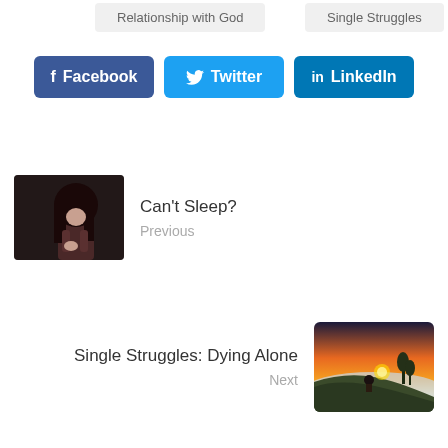Relationship with God
Single Struggles
Facebook
Twitter
LinkedIn
[Figure (photo): Woman with long dark hair sitting hunched over, distressed, in dark moody lighting]
Can't Sleep?
Previous
Single Struggles: Dying Alone
Next
[Figure (photo): Person sitting on a cliff at sunset overlooking a misty valley with orange sky]